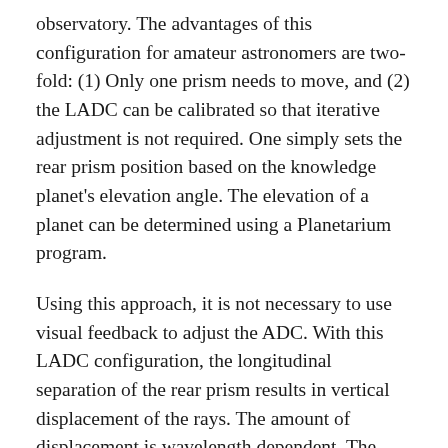observatory. The advantages of this configuration for amateur astronomers are two-fold: (1) Only one prism needs to move, and (2) the LADC can be calibrated so that iterative adjustment is not required. One simply sets the rear prism position based on the knowledge planet's elevation angle. The elevation of a planet can be determined using a Planetarium program.
Using this approach, it is not necessary to use visual feedback to adjust the ADC. With this LADC configuration, the longitudinal separation of the rear prism results in vertical displacement of the rays. The amount of displacement is wavelength dependent. The difference in ray height δΔyblue_red between blue and red wavelengths is given by: